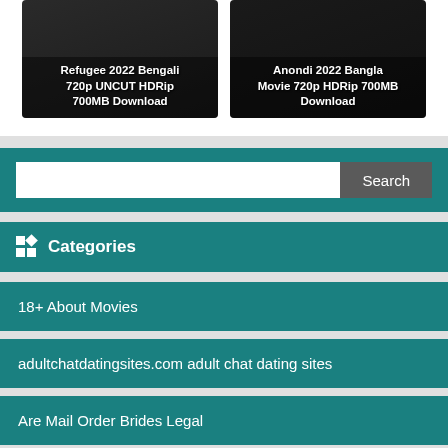[Figure (photo): Movie poster card for Refugee 2022 Bengali 720p UNCUT HDRip 700MB Download]
[Figure (photo): Movie poster card for Anondi 2022 Bangla Movie 720p HDRip 700MB Download]
Search
Categories
18+ About Movies
adultchatdatingsites.com adult chat dating sites
Are Mail Order Brides Legal
asian dating
Bengali Movies